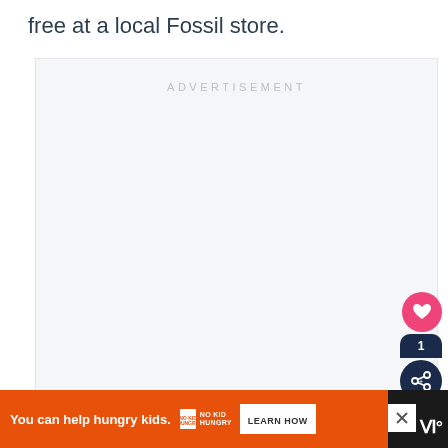free at a local Fossil store.
[Figure (other): Advertisement placeholder box with 'ADVERTISEMENT' label in light gray text on a light gray background]
[Figure (other): Heart (favorite) button - pink circular button with white heart icon]
[Figure (other): Share button - dark navy circular button with share icon and count badge showing '1']
[Figure (other): Bottom advertisement banner: orange background with 'You can help hungry kids.' text, No Kid Hungry logo, and LEARN HOW button]
[Figure (logo): Brand logo 'W°' in white on dark background at bottom right]